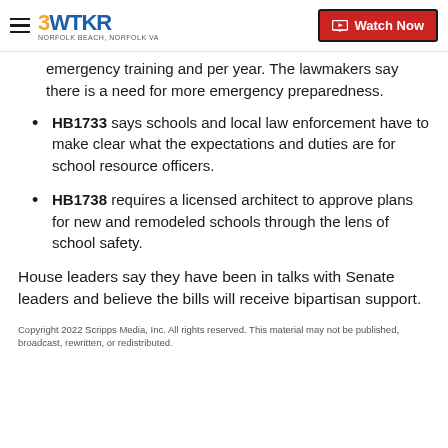3WTKR | Watch Now
emergency training and per year. The lawmakers say there is a need for more emergency preparedness.
HB1733 says schools and local law enforcement have to make clear what the expectations and duties are for school resource officers.
HB1738 requires a licensed architect to approve plans for new and remodeled schools through the lens of school safety.
House leaders say they have been in talks with Senate leaders and believe the bills will receive bipartisan support.
Copyright 2022 Scripps Media, Inc. All rights reserved. This material may not be published, broadcast, rewritten, or redistributed.